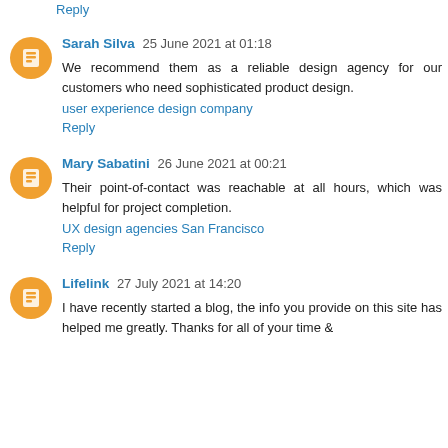Reply
Sarah Silva 25 June 2021 at 01:18
We recommend them as a reliable design agency for our customers who need sophisticated product design.
user experience design company
Reply
Mary Sabatini 26 June 2021 at 00:21
Their point-of-contact was reachable at all hours, which was helpful for project completion.
UX design agencies San Francisco
Reply
Lifelink 27 July 2021 at 14:20
I have recently started a blog, the info you provide on this site has helped me greatly. Thanks for all of your time &